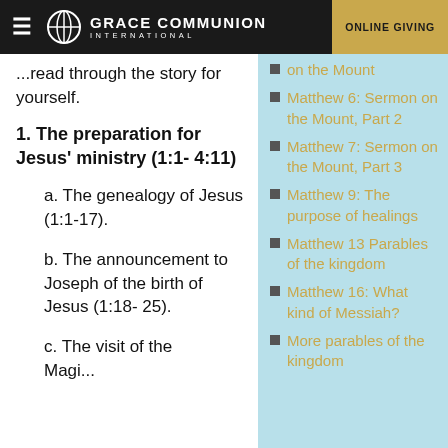GRACE COMMUNION INTERNATIONAL | ONLINE GIVING
read through the story for yourself.
1. The preparation for Jesus' ministry (1:1- 4:11)
a. The genealogy of Jesus (1:1-17).
b. The announcement to Joseph of the birth of Jesus (1:18- 25).
c. The visit of the Magi...
on the Mount
Matthew 6: Sermon on the Mount, Part 2
Matthew 7: Sermon on the Mount, Part 3
Matthew 9: The purpose of healings
Matthew 13 Parables of the kingdom
Matthew 16: What kind of Messiah?
More parables of the kingdom